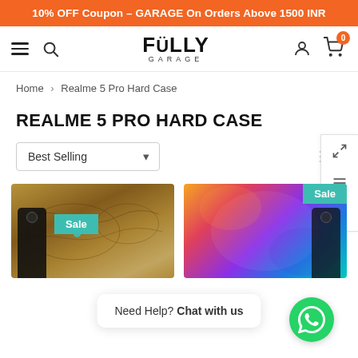10% OFF Coupon – GARAGE On Orders Above 1500 INR
[Figure (logo): FULLY GARAGE logo with hamburger menu, search icon, user icon, and cart icon showing 0 items]
Home > Realme 5 Pro Hard Case
REALME 5 PRO HARD CASE
Best Selling (sort dropdown)
[Figure (photo): Sale badge. Phone case with world map design on dark background]
[Figure (photo): Sale badge. Phone case with colorful nebula/galaxy design]
Need Help? Chat with us